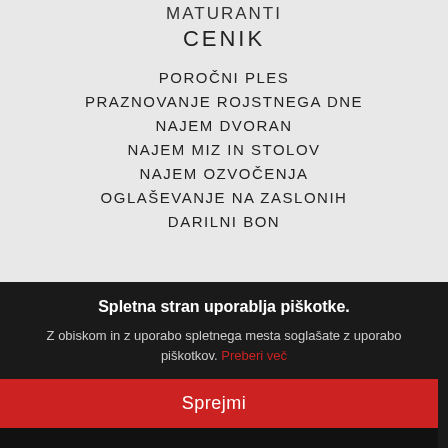MATURANTI
CENIK
POROČNI PLES
PRAZNOVANJE ROJSTNEGA DNE
NAJEM DVORAN
NAJEM MIZ IN STOLOV
NAJEM OZVOČENJA
OGLAŠEVANJE NA ZASLONIH
DARILNI BON
Spletna stran uporablja piškotke.
Z obiskom in z uporabo spletnega mesta soglašate z uporabo piškotkov. Preberi več
Sprejmi